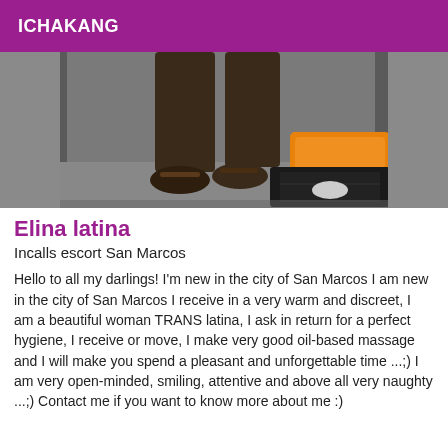ICHAKANG
[Figure (photo): Photo showing legs and feet in sandals, with an orange towel or cloth visible, taken in what appears to be a room with a mirror or glass door.]
Elina latina
Incalls escort San Marcos
Hello to all my darlings! I'm new in the city of San Marcos I am new in the city of San Marcos I receive in a very warm and discreet, I am a beautiful woman TRANS latina, I ask in return for a perfect hygiene, I receive or move, I make very good oil-based massage and I will make you spend a pleasant and unforgettable time ...;) I am very open-minded, smiling, attentive and above all very naughty ...;) Contact me if you want to know more about me :)